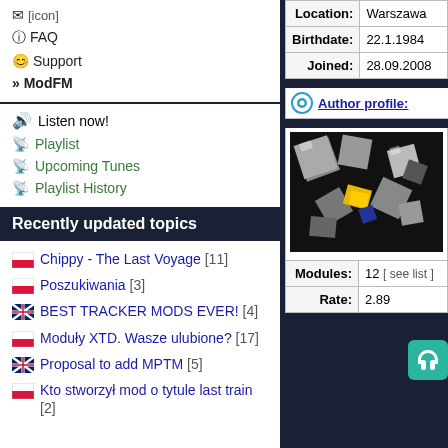FAQ
Support
» ModFM
Listen now!
Playlist
Upcoming Tunes
Playlist History
Recently updated topics
Chippy - The Last Voyage [11]
Poszukiwania [3]
BEST TRACKER MODS EVER! [4]
Moduły XTD. Wasze ulubione? [17]
Proposal to add MPTM [5]
Kto stworzył mod o tytule last train [2]
| Field | Value |
| --- | --- |
| Location: | Warszawa |
| Birthdate: | 22.1.1984 |
| Joined: | 28.09.2008 |
Author profile:
[Figure (photo): Profile image showing metallic 3D cube shapes with yellow accents on dark background]
| Field | Value | Extra |
| --- | --- | --- |
| Modules: | 12 | [ see list ] |
| Rate: | 2.89 |  |